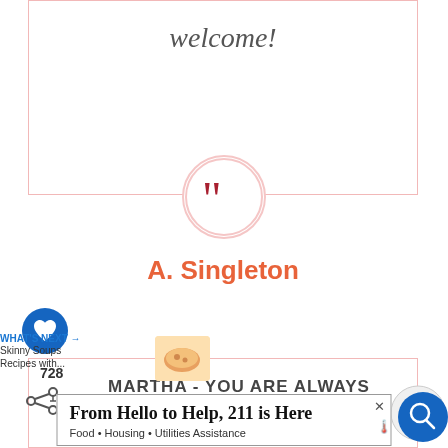welcome!
[Figure (illustration): Pink circle with dark red closing double quotation marks icon]
A. Singleton
[Figure (illustration): Blue circular heart/like button]
728
[Figure (illustration): Share icon (arrow with plus)]
MARTHA - YOU ARE ALWAYS [...]POINT IN HELPING ME TO [M]AKE GOOD CHOICES
[Figure (illustration): Up chevron button (grey circle)]
WHAT'S NEXT → Skinny Soups Recipes with...
[Figure (photo): Small food soup image thumbnail]
From Hello to Help, 211 is Here
Food • Housing • Utilities Assistance
[Figure (illustration): Blue circular search button with magnifying glass icon]